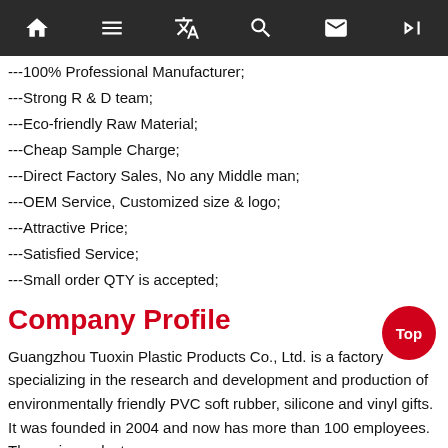[navigation bar with home, list, translate, search, mail, skip icons]
---100% Professional Manufacturer;
---Strong R & D team;
---Eco-friendly Raw Material;
---Cheap Sample Charge;
---Direct Factory Sales, No any Middle man;
---OEM Service, Customized size & logo;
---Attractive Price;
---Satisfied Service;
---Small order QTY is accepted;
Company Profile
Guangzhou Tuoxin Plastic Products Co., Ltd. is a factory specializing in the research and development and production of environmentally friendly PVC soft rubber, silicone and vinyl gifts. It was founded in 2004 and now has more than 100 employees. The main products